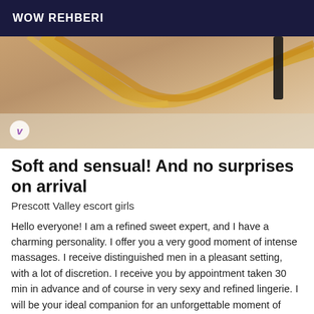WOW REHBERI
[Figure (photo): Close-up photo of a person lying down, with blonde hair, wearing a black strap, on a light-colored surface. A circular watermark with the letter 'v' is visible in the lower left.]
Soft and sensual! And no surprises on arrival
Prescott Valley escort girls
Hello everyone! I am a refined sweet expert, and I have a charming personality. I offer you a very good moment of intense massages. I receive distinguished men in a pleasant setting, with a lot of discretion. I receive you by appointment taken 30 min in advance and of course in very sexy and refined lingerie. I will be your ideal companion for an unforgettable moment of massage. All my photos are real, you will not have any bad surprise. So do not hesitate to call me I am available. Kisses